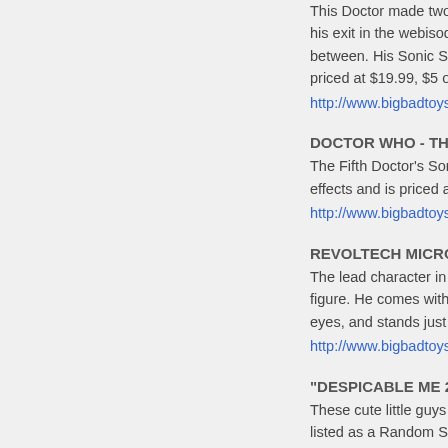This Doctor made two video appearances and made his exit in the webisode "The Night o... between. His Sonic Screwdriver will... priced at $19.99, $5 off the MSRP.
http://www.bigbadtoystore.com/bbts/
DOCTOR WHO - THE FIFTH DOCT...
The Fifth Doctor's Sonic Screwdriver... effects and is priced at $19.99, $5 of...
http://www.bigbadtoystore.com/bbts/
REVOLTECH MICRO FIGURE RM0...
The lead character in the Kinnikuma... figure. He comes with optional hands... eyes, and stands just over 4" tall. He...
http://www.bigbadtoystore.com/bbts/
"DESPICABLE ME 2" MINION FING...
These cute little guys come in at leas... listed as a Random Single at $4.99,...
http://www.bigbadtoystore.com/bbts/
............